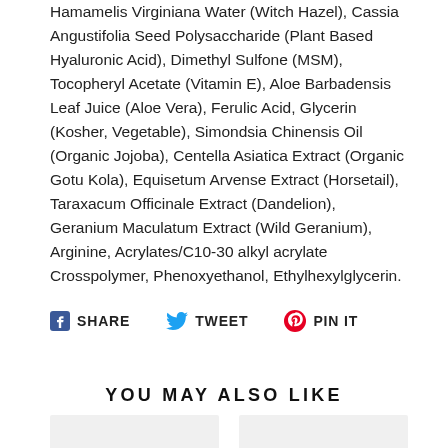Hamamelis Virginiana Water (Witch Hazel), Cassia Angustifolia Seed Polysaccharide (Plant Based Hyaluronic Acid), Dimethyl Sulfone (MSM), Tocopheryl Acetate (Vitamin E), Aloe Barbadensis Leaf Juice (Aloe Vera), Ferulic Acid, Glycerin (Kosher, Vegetable), Simondsia Chinensis Oil (Organic Jojoba), Centella Asiatica Extract (Organic Gotu Kola), Equisetum Arvense Extract (Horsetail), Taraxacum Officinale Extract (Dandelion), Geranium Maculatum Extract (Wild Geranium), Arginine, Acrylates/C10-30 alkyl acrylate Crosspolymer, Phenoxyethanol, Ethylhexylglycerin.
SHARE  TWEET  PIN IT
YOU MAY ALSO LIKE
[Figure (photo): Product card placeholder (light gray rectangle)]
[Figure (photo): Product card placeholder (light gray rectangle)]